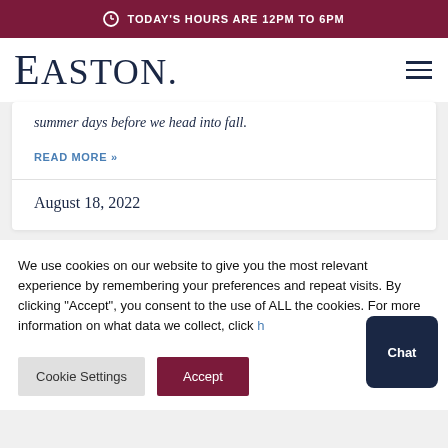TODAY'S HOURS ARE 12PM TO 6PM
EASTON.
summer days before we head into fall.
READ MORE »
August 18, 2022
We use cookies on our website to give you the most relevant experience by remembering your preferences and repeat visits. By clicking "Accept", you consent to the use of ALL the cookies. For more information on what data we collect, click h
Cookie Settings
Accept
Chat